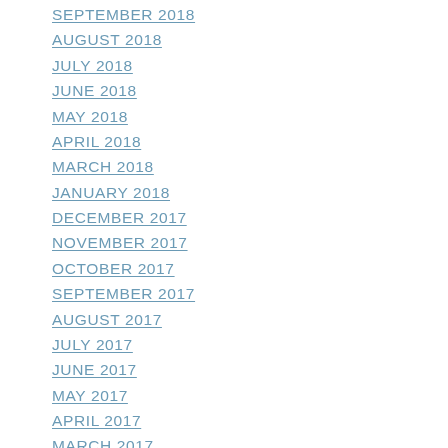SEPTEMBER 2018
AUGUST 2018
JULY 2018
JUNE 2018
MAY 2018
APRIL 2018
MARCH 2018
JANUARY 2018
DECEMBER 2017
NOVEMBER 2017
OCTOBER 2017
SEPTEMBER 2017
AUGUST 2017
JULY 2017
JUNE 2017
MAY 2017
APRIL 2017
MARCH 2017
JANUARY 2017